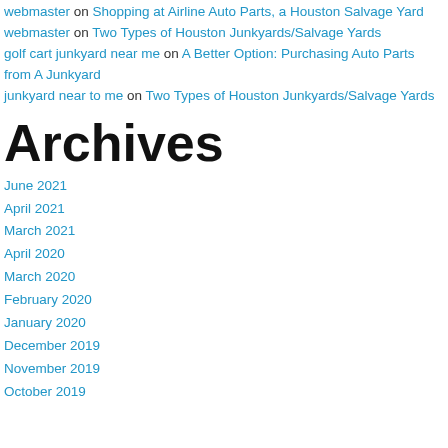webmaster on Shopping at Airline Auto Parts, a Houston Salvage Yard
webmaster on Two Types of Houston Junkyards/Salvage Yards
golf cart junkyard near me on A Better Option: Purchasing Auto Parts from A Junkyard
junkyard near to me on Two Types of Houston Junkyards/Salvage Yards
Archives
June 2021
April 2021
March 2021
April 2020
March 2020
February 2020
January 2020
December 2019
November 2019
October 2019